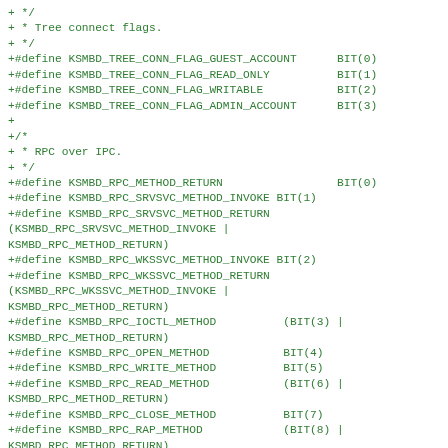+ */
+ * Tree connect flags.
+ */
+#define KSMBD_TREE_CONN_FLAG_GUEST_ACCOUNT      BIT(0)
+#define KSMBD_TREE_CONN_FLAG_READ_ONLY          BIT(1)
+#define KSMBD_TREE_CONN_FLAG_WRITABLE           BIT(2)
+#define KSMBD_TREE_CONN_FLAG_ADMIN_ACCOUNT      BIT(3)
+
+/*
+ * RPC over IPC.
+ */
+#define KSMBD_RPC_METHOD_RETURN                 BIT(0)
+#define KSMBD_RPC_SRVSVC_METHOD_INVOKE BIT(1)
+#define KSMBD_RPC_SRVSVC_METHOD_RETURN
(KSMBD_RPC_SRVSVC_METHOD_INVOKE |
KSMBD_RPC_METHOD_RETURN)
+#define KSMBD_RPC_WKSSVC_METHOD_INVOKE BIT(2)
+#define KSMBD_RPC_WKSSVC_METHOD_RETURN
(KSMBD_RPC_WKSSVC_METHOD_INVOKE |
KSMBD_RPC_METHOD_RETURN)
+#define KSMBD_RPC_IOCTL_METHOD          (BIT(3) |
KSMBD_RPC_METHOD_RETURN)
+#define KSMBD_RPC_OPEN_METHOD           BIT(4)
+#define KSMBD_RPC_WRITE_METHOD          BIT(5)
+#define KSMBD_RPC_READ_METHOD           (BIT(6) |
KSMBD_RPC_METHOD_RETURN)
+#define KSMBD_RPC_CLOSE_METHOD          BIT(7)
+#define KSMBD_RPC_RAP_METHOD            (BIT(8) |
KSMBD_RPC_METHOD_RETURN)
+#define KSMBD_RPC_RESTRICTED_CONTEXT    BIT(9)
+#define KSMBD_RPC_SAMP_METHOD_INVOKE    BIT(10)